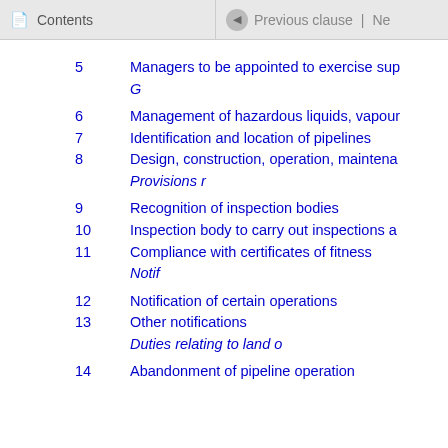Contents | Previous clause | Ne
5  Managers to be appointed to exercise sup
G
6  Management of hazardous liquids, vapour
7  Identification and location of pipelines
8  Design, construction, operation, maintena
Provisions r
9  Recognition of inspection bodies
10  Inspection body to carry out inspections a
11  Compliance with certificates of fitness
Notif
12  Notification of certain operations
13  Other notifications
Duties relating to land o
14  Abandonment of pipeline operation